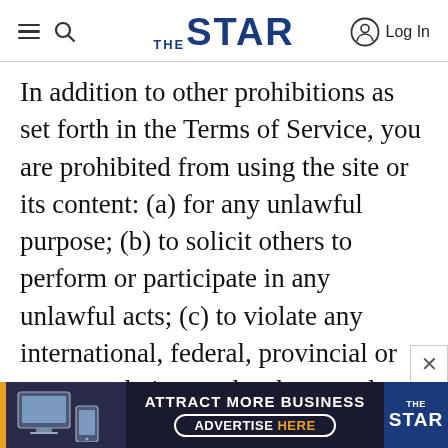The Star — navigation header with hamburger menu, search, logo, and Log In
In addition to other prohibitions as set forth in the Terms of Service, you are prohibited from using the site or its content: (a) for any unlawful purpose; (b) to solicit others to perform or participate in any unlawful acts; (c) to violate any international, federal, provincial or state regulations, rules, laws, or local ordinances; (d) to infringe upon or violate our intellectual property rights or the intellectual property rights of others; (e) to harass, abuse, insult, harm, defame, slander, disparage, intimidate, or discriminate based on...
[Figure (infographic): Advertisement banner: ATTRACT MORE BUSINESS / ADVERTISE HERE button, with The Star logo]